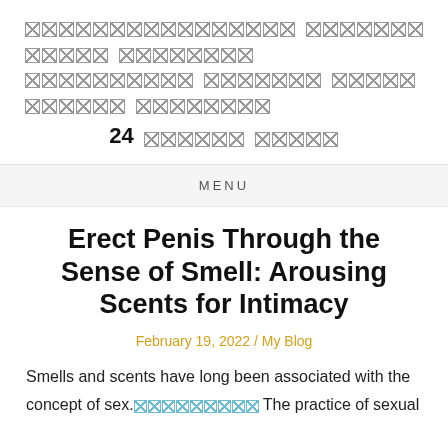[redacted header content] 24 [redacted]
MENU
Erect Penis Through the Sense of Smell: Arousing Scents for Intimacy
February 19, 2022 / My Blog
Smells and scents have long been associated with the concept of sex. [redacted] The practice of sexual